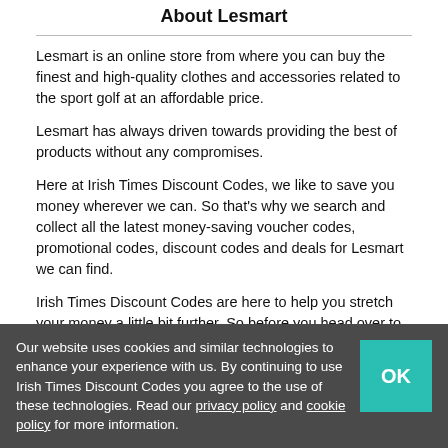About Lesmart
Lesmart is an online store from where you can buy the finest and high-quality clothes and accessories related to the sport golf at an affordable price.
Lesmart has always driven towards providing the best of products without any compromises.
Here at Irish Times Discount Codes, we like to save you money wherever we can. So that's why we search and collect all the latest money-saving voucher codes, promotional codes, discount codes and deals for Lesmart we can find.
Irish Times Discount Codes are here to help you stretch your money a little bit further. So before you head over to the Lesmart website, take a good look at all our money-saving offers to see what you can save.
Our website uses cookies and similar technologies to enhance your experience with us. By continuing to use Irish Times Discount Codes you agree to the use of these technologies. Read our privacy policy and cookie policy for more information.